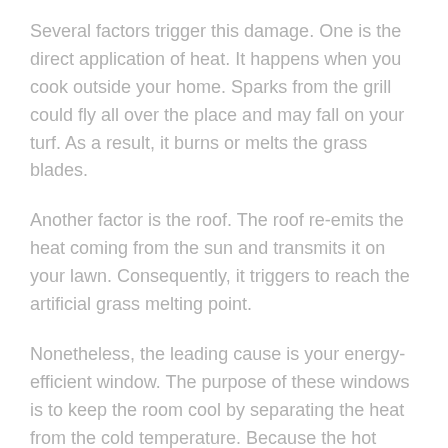Several factors trigger this damage. One is the direct application of heat. It happens when you cook outside your home. Sparks from the grill could fly all over the place and may fall on your turf. As a result, it burns or melts the grass blades.
Another factor is the roof. The roof re-emits the heat coming from the sun and transmits it on your lawn. Consequently, it triggers to reach the artificial grass melting point.
Nonetheless, the leading cause is your energy-efficient window. The purpose of these windows is to keep the room cool by separating the heat from the cold temperature. Because the hot temperature cannot enter the house, the coating used by Low-E windows intensifies and shoots it to your turf. As a result, the glare from a window burns the grass.